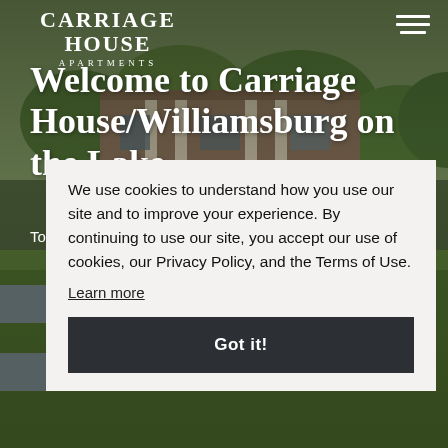[Figure (photo): Exterior photo of Carriage House Apartments brick building with trees and lawn]
Carriage House Apartments
Welcome to Carriage House/Williamsburg on the Lake
To
We use cookies to understand how you use our site and to improve your experience. By continuing to use our site, you accept our use of cookies, our Privacy Policy, and the Terms of Use.
Learn more
Got it!